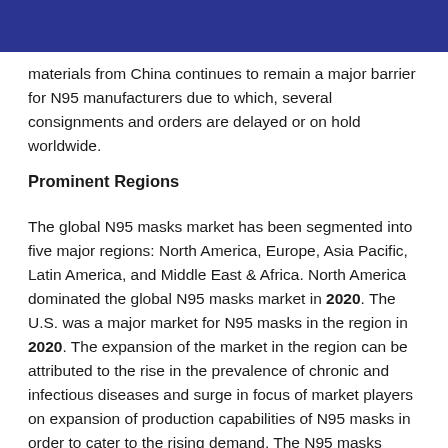materials from China continues to remain a major barrier for N95 manufacturers due to which, several consignments and orders are delayed or on hold worldwide.
Prominent Regions
The global N95 masks market has been segmented into five major regions: North America, Europe, Asia Pacific, Latin America, and Middle East & Africa. North America dominated the global N95 masks market in 2020. The U.S. was a major market for N95 masks in the region in 2020. The expansion of the market in the region can be attributed to the rise in the prevalence of chronic and infectious diseases and surge in focus of market players on expansion of production capabilities of N95 masks in order to cater to the rising demand. The N95 masks market in Asia Pacific is expected to expand at a high